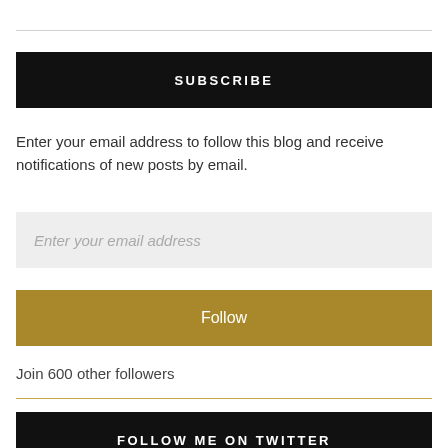SUBSCRIBE
Enter your email address to follow this blog and receive notifications of new posts by email.
Enter your email address
Follow
Join 600 other followers
FOLLOW ME ON TWITTER